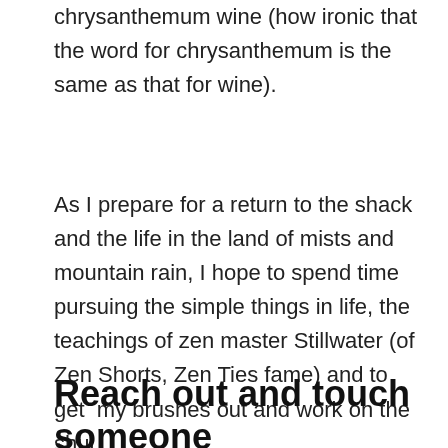chrysanthemum wine (how ironic that the word for chrysanthemum is the same as that for wine).
As I prepare for a return to the shack and the life in the land of mists and mountain rain, I hope to spend time pursuing the simple things in life, the teachings of zen master Stillwater (of Zen Shorts, Zen Ties fame) and to get  my brushes out and work on the shui.
Reach out and touch someone